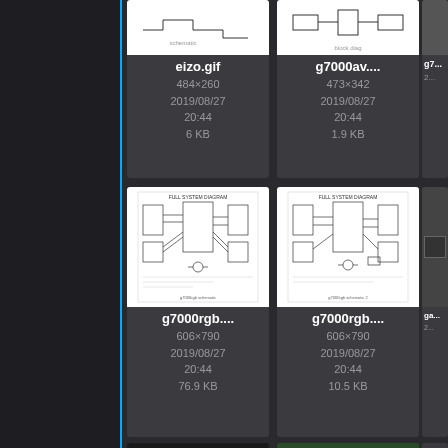[Figure (screenshot): File browser grid showing engineering schematic and hardware image files. Left sidebar dark panel. Row 1: eizo.gif (484×260, 2019/08/27 20:44, 6 KB) and g7000av... (473×342, 2019/08/27 20:44, 1.9 KB). Row 2: g7000rgb... (606×790, 2019/08/27 20:44, 76.9 KB) and g7000rgb... (606×790, 2019/08/27 20:44, 10.5 KB). Row 3 partial: connector photo and PCB photo visible.]